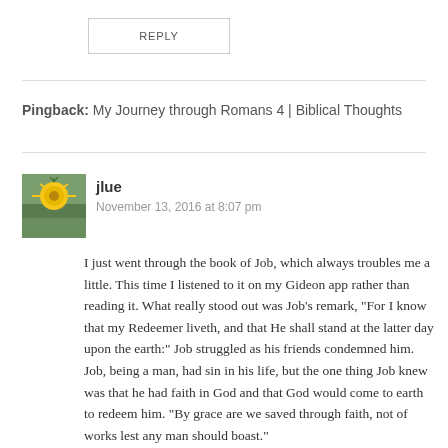REPLY
Pingback: My Journey through Romans 4 | Biblical Thoughts
jlue
November 13, 2016 at 8:07 pm
I just went through the book of Job, which always troubles me a little. This time I listened to it on my Gideon app rather than reading it. What really stood out was Job’s remark, “For I know that my Redeemer liveth, and that He shall stand at the latter day upon the earth:” Job struggled as his friends condemned him. Job, being a man, had sin in his life, but the one thing Job knew was that he had faith in God and that God would come to earth to redeem him. “By grace are we saved through faith, not of works lest any man should boast.”